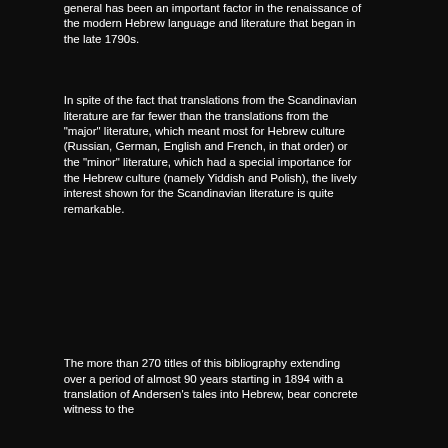general has been an important factor in the renaissance of the modern Hebrew language and literature that began in the late 1790s.
In spite of the fact that translations from the Scandinavian literature are far fewer than the translations from the "major" literature, which meant most for Hebrew culture (Russian, German, English and French, in that order) or the "minor" literature, which had a special importance for the Hebrew culture (namely Yiddish and Polish), the lively interest shown for the Scandinavian literature is quite remarkable.
The more than 270 titles of this bibliography extending over a period of almost 90 years starting in 1894 with a translation of Andersen's tales into Hebrew, bear concrete witness to the